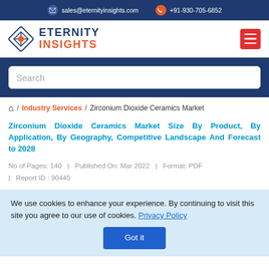sales@eternityinsights.com  +91-930-705-6852
[Figure (logo): Eternity Insights logo with diamond shape and company name]
Search
Home / Industry Services / Zirconium Dioxide Ceramics Market
Zirconium Dioxide Ceramics Market Size By Product, By Application, By Geography, Competitive Landscape And Forecast to 2028
No of Pages: 140  |  Published On: Mar 2022  |  Format: PDF  |  Report ID : 90445
We use cookies to enhance your experience. By continuing to visit this site you agree to our use of cookies. Privacy Policy
Got it